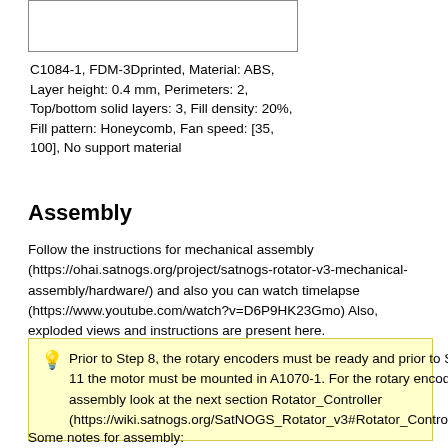[Figure (other): Image placeholder box (partial image visible at top of page)]
C1084-1, FDM-3Dprinted, Material: ABS, Layer height: 0.4 mm, Perimeters: 2, Top/bottom solid layers: 3, Fill density: 20%, Fill pattern: Honeycomb, Fan speed: [35, 100], No support material
Assembly
Follow the instructions for mechanical assembly (https://ohai.satnogs.org/project/satnogs-rotator-v3-mechanical-assembly/hardware/) and also you can watch timelapse (https://www.youtube.com/watch?v=D6P9HK23Gmo) Also, exploded views and instructions are present here.
💡 Prior to Step 8, the rotary encoders must be ready and prior to Step 11 the motor must be mounted in A1070-1. For the rotary encoder assembly look at the next section Rotator_Controller (https://wiki.satnogs.org/SatNOGS_Rotator_v3#Rotator_Controller).
Some notes for assembly: